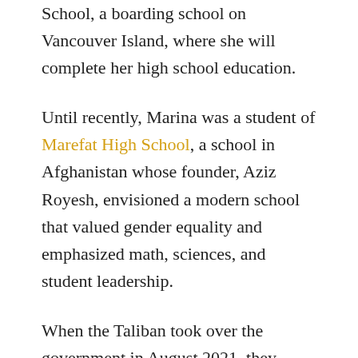School, a boarding school on Vancouver Island, where she will complete her high school education.
Until recently, Marina was a student of Marefat High School, a school in Afghanistan whose founder, Aziz Royesh, envisioned a modern school that valued gender equality and emphasized math, sciences, and student leadership.
When the Taliban took over the government in August 2021, they immediately banned girls' education above Grade 6. Marefat High School